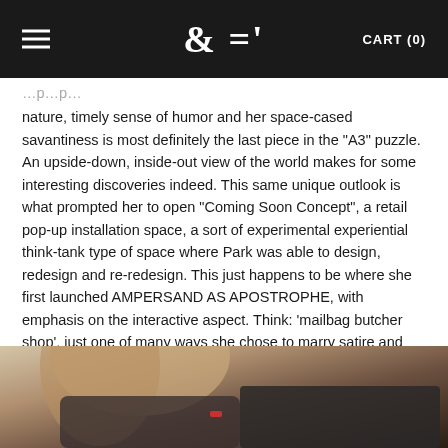& =' CART (0)
nature, timely sense of humor and her space-cased savantiness is most definitely the last piece in the "A3" puzzle. An upside-down, inside-out view of the world makes for some interesting discoveries indeed. This same unique outlook is what prompted her to open "Coming Soon Concept", a retail pop-up installation space, a sort of experimental experiential think-tank type of space where Park was able to design, redesign and re-redesign. This just happens to be where she first launched AMPERSAND AS APOSTROPHE, with emphasis on the interactive aspect. Think: 'mailbag butcher shop', just one of many ways she chose to marry satire and experience, and what a happy marriage it is.
View Brand Story
[Figure (photo): A photo of a person with long hair, partially visible, sitting or leaning, wearing dark pants with a red bracelet on their wrist.]